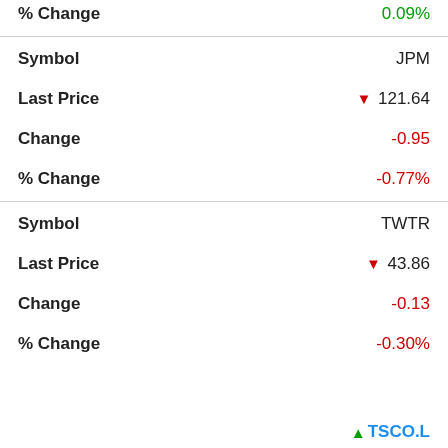| Field | Value |
| --- | --- |
| % Change | 0.09% |
| Symbol | JPM |
| Last Price | ▼ 121.64 |
| Change | -0.95 |
| % Change | -0.77% |
| Symbol | TWTR |
| Last Price | ▼ 43.86 |
| Change | -0.13 |
| % Change | -0.30% |
↑ TSCO.L